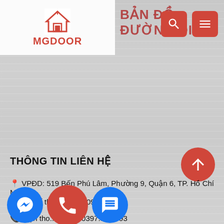[Figure (logo): MGDoor logo: house icon above text 'MGDOOR' in red on white background]
BẢN ĐỒ ĐƯỜNG ĐI
[Figure (screenshot): Background texture resembling wood grain in light grey/white tones]
THÔNG TIN LIÊN HỆ
VPĐD: 519 Bến Phú Lâm, Phường 9, Quận 6, TP. Hồ Chí Minh
Mã số thuế : 0315109000
Điện thoại : 0397.336.393